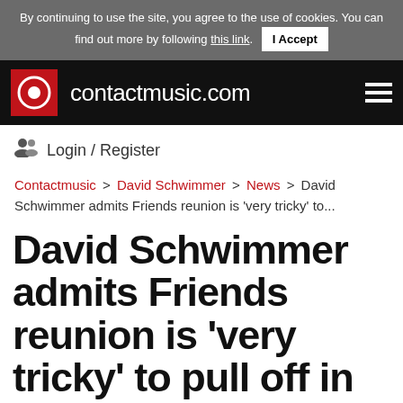By continuing to use the site, you agree to the use of cookies. You can find out more by following this link. I Accept
contactmusic.com
Login / Register
Contactmusic > David Schwimmer > News > David Schwimmer admits Friends reunion is 'very tricky' to...
David Schwimmer admits Friends reunion is 'very tricky' to pull off in pandemic